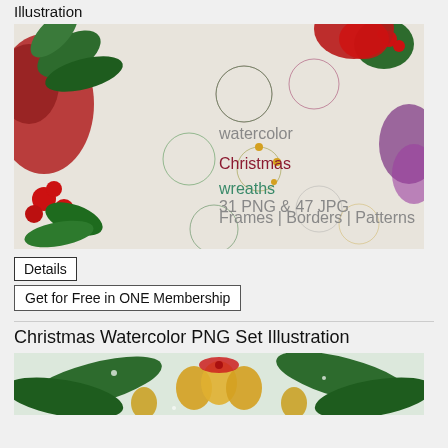Illustration
[Figure (illustration): Watercolor Christmas wreaths illustration set showing multiple floral wreaths with poinsettias, holly, berries, and decorative elements on a light textured background. Text reads 'watercolor Christmas wreaths 31 PNG & 47 JPG Frames | Borders | Patterns']
Details
Get for Free in ONE Membership
Christmas Watercolor PNG Set Illustration
[Figure (illustration): Christmas watercolor PNG set illustration showing golden bells with red bows, pine branches, and holiday decorations on a light background]